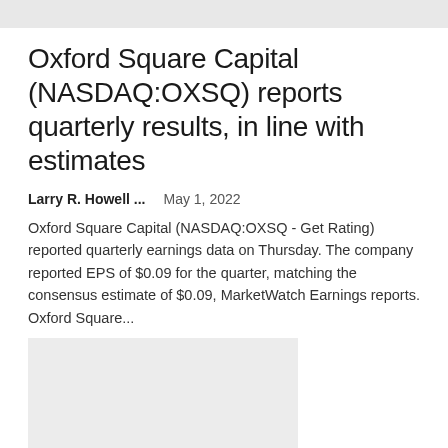Oxford Square Capital (NASDAQ:OXSQ) reports quarterly results, in line with estimates
Larry R. Howell ...   May 1, 2022
Oxford Square Capital (NASDAQ:OXSQ - Get Rating) reported quarterly earnings data on Thursday. The company reported EPS of $0.09 for the quarter, matching the consensus estimate of $0.09, MarketWatch Earnings reports. Oxford Square...
[Figure (other): Gray placeholder image block at the bottom of the page]